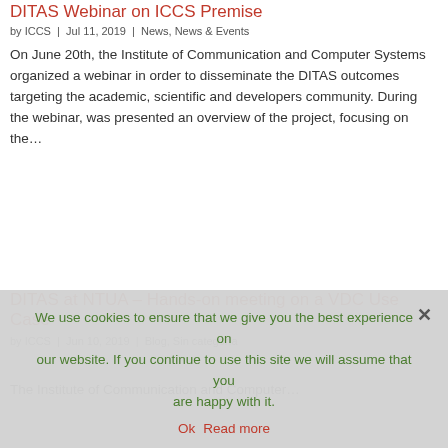DITAS Webinar on ICCS Premise
by ICCS | Jul 11, 2019 | News, News & Events
On June 20th, the Institute of Communication and Computer Systems organized a webinar in order to disseminate the DITAS outcomes targeting the academic, scientific and developers community. During the webinar, was presented an overview of the project, focusing on the…
DITAS at NTUA – Hands-on meeting on a VDC Use Case
by ICCS | Jun 10, 2019 | Blog, Sin categoría
The Institute of Communication and Computer…
We use cookies to ensure that we give you the best experience on our website. If you continue to use this site we will assume that you are happy with it.
Ok   Read more